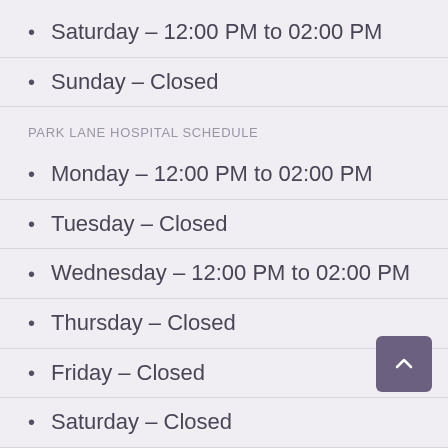Saturday – 12:00 PM to 02:00 PM
Sunday – Closed
PARK LANE HOSPITAL SCHEDULE
Monday – 12:00 PM to 02:00 PM
Tuesday – Closed
Wednesday – 12:00 PM to 02:00 PM
Thursday – Closed
Friday – Closed
Saturday – Closed
Sunday – Closed
DHA MEDICAL CENTER SCHEDULE
Monday – 06:00 PM to 09:00 PM